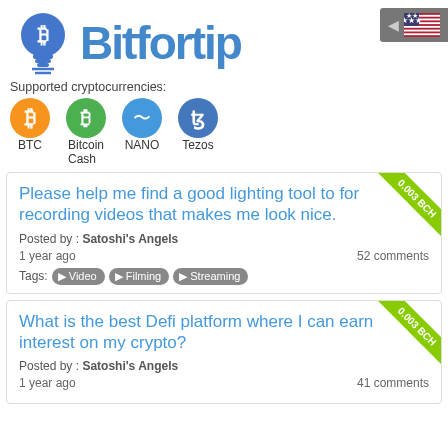[Figure (logo): Bitfortip logo with lightbulb icon containing Bitcoin symbol and blue handwritten-style 'Bitfortip' text]
Supported cryptocurrencies:
[Figure (infographic): Four supported cryptocurrencies icons: BTC (orange), Bitcoin Cash (green), NANO (blue), Tezos (blue)]
Please help me find a good lighting tool to for recording videos that makes me look nice.
Posted by : Satoshi's Angels
1 year ago	52 comments
Tags: Video Filming Streaming
What is the best Defi platform where I can earn interest on my crypto?
Posted by : Satoshi's Angels
1 year ago	41 comments